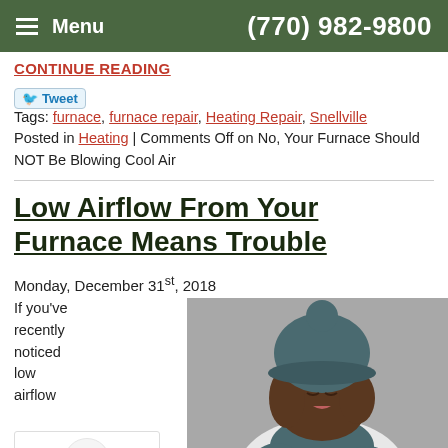Menu | (770) 982-9800
CONTINUE READING
Tweet  Tags: furnace, furnace repair, Heating Repair, Snellville
Posted in Heating | Comments Off on No, Your Furnace Should NOT Be Blowing Cool Air
Low Airflow From Your Furnace Means Trouble
Monday, December 31st, 2018
If you've recently noticed low airflow ... your ... it's time
[Figure (photo): Woman wearing a grey knit hat with pom-pom and grey scarf/gloves, looking cold, on a grey background.]